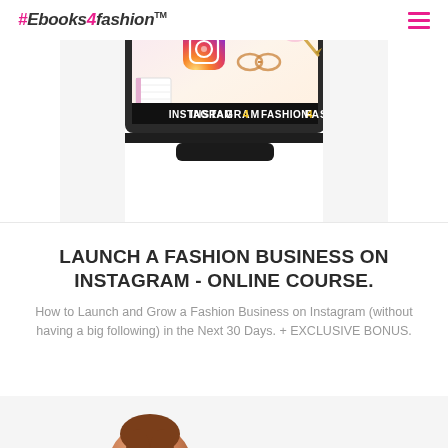#Ebooks4fashion™
[Figure (illustration): Laptop computer displaying Instagram4Fashion course screen with Instagram logo and pink/gold desk decor in the background. Screen shows 'INSTAGRAM4FASHION' in bold white/yellow text on black bar.]
LAUNCH A FASHION BUSINESS ON INSTAGRAM - ONLINE COURSE.
How to Launch and Grow a Fashion Business on Instagram (without having a big following) in the Next 30 Days. + EXCLUSIVE BONUS.
[Figure (photo): Partial view of a person's photo at the bottom of the page]